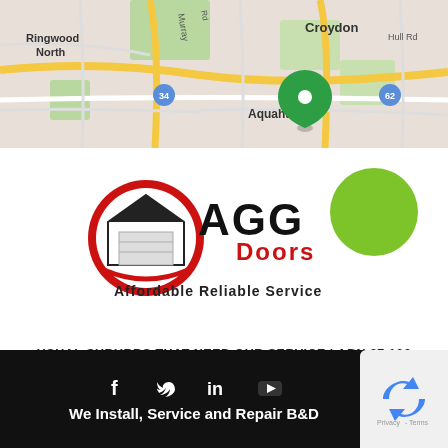[Figure (map): Google Maps screenshot showing Ringwood North, Croydon, Aquahub with a green map pin, road network, route 34 and 62 markers]
[Figure (logo): AGG Doors logo — red circle with white house/garage icon, bold black text AGG, red text Doors, tagline Affordable Reliable Service in bold black]
USUAL SUBURBS THAT NEED OUR SERVICE | ABN 27 106 103 315 | ABOUT US | SERVICE AREAS | CUSTOMER REVIEWS
[Figure (other): Footer with social media icons (Facebook, Twitter, LinkedIn, YouTube) and text: We Install, Service and Repair B&D, with reCAPTCHA badge in bottom right]